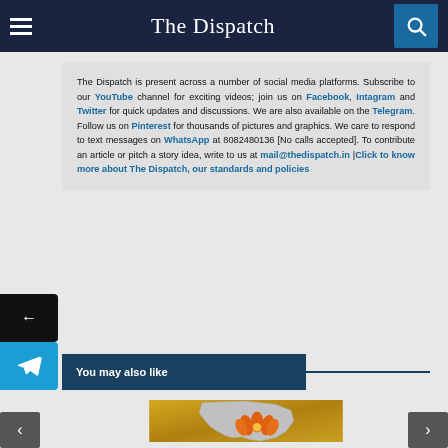The Dispatch
The Dispatch is present across a number of social media platforms. Subscribe to our YouTube channel for exciting videos; join us on Facebook, Intagram and Twitter for quick updates and discussions. We are also available on the Telegram. Follow us on Pinterest for thousands of pictures and graphics. We care to respond to text messages on WhatsApp at 8082480136 [No calls accepted]. To contribute an article or pitch a story idea, write to us at mail@thedispatch.in |Click to know more about The Dispatch, our standards and policies
You may also like
[Figure (photo): Image of India map with BJP lotus symbol on golden/orange background]